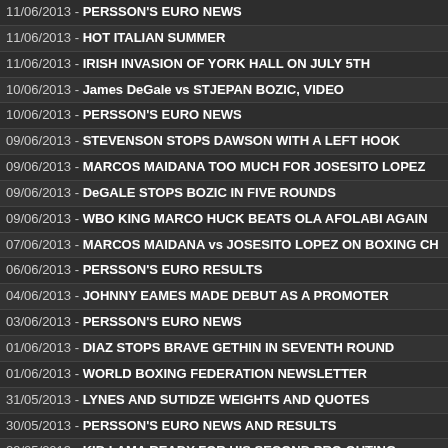11/06/2013 - PERSSON'S EURO NEWS
11/06/2013 - HOT ITALIAN SUMMER
11/06/2013 - IRISH INVASION OF YORK HALL ON JULY 5TH
10/06/2013 - James DeGale vs STJEPAN BOZIC, VIDEO
10/06/2013 - PERSSON'S EURO NEWS
09/06/2013 - STEVENSON STOPS DAWSON WITH A LEFT HOOK
09/06/2013 - MARCOS MAIDANA TOO MUCH FOR JOSESITO LOPEZ
09/06/2013 - DeGALE STOPS BOZIC IN FIVE ROUNDS
09/06/2013 - WBO KING MARCO HUCK BEATS OLA AFOLABI AGAIN
07/06/2013 - MARCOS MAIDANA vs JOSESITO LOPEZ ON BOXING CH
06/06/2013 - PERSSON'S EURO RESULTS
04/06/2013 - JOHNNY EAMES MADE DEBUT AS A PROMOTER
03/06/2013 - PERSSON'S EURO NEWS
01/06/2013 - DIAZ STOPS BRAVE GETHIN IN SEVENTH ROUND
01/06/2013 - WORLD BOXING FEDERATION NEWSLETTER
31/05/2013 - LYNES AND SUTIDZE WEIGHTS AND QUOTES
30/05/2013 - PERSSON'S EURO NEWS AND RESULTS
29/05/2013 - KID LAMA READY FOR HIS SECOND PRO OUTING
29/05/2013 - GOLDEN GIRL RETURNS TO YORK HALL JULY 5TH
28/05/2013 - BOXERS UNITE FOR TROOPS IN AFTERMATCH OF WOO
26/05/2013 - FROCH vs KELLSER, ROUND-BY-ROUND COVERAGE
26/05/2013 - FROCH BEATS KESSLER IN UNIFICATION BATTLE
24/05/2013 - PERSSON'S EURO NEWS AND RESULTS
24/05/2013 - ABOUT CARL FROCH vs MIKKEL KESSLER
24/05/2013 - AIBA PRESIDENT TO RUN FOR IOC PRESIDENCY
23/05/2013 - JENNIFER RETZKE vs MIKAELA LAUREN WORLD TITLE
23/05/2013 - LITHUANIAN PAULIUS KASIULEVICIUS IS SET TO DEBU